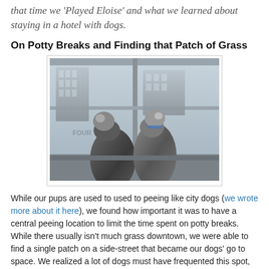that time we 'Played Eloise' and what we learned about staying in a hotel with dogs.
On Potty Breaks and Finding that Patch of Grass
[Figure (photo): Two dogs standing on their hind legs looking out a hotel window at city buildings below, with a 'FOUR' (Seasons) logo visible on signage outside.]
While our pups are used to used to peeing like city dogs (we wrote more about it here), we found how important it was to have a central peeing location to limit the time spent on potty breaks. While there usually isn't much grass downtown, we were able to find a single patch on a side-street that became our dogs' go to space. We realized a lot of dogs must have frequented this spot, so it became our 'go-to' spot to keep our wandering around at a minimum.
Our dogs are also fine riding in elevators, though if your dog